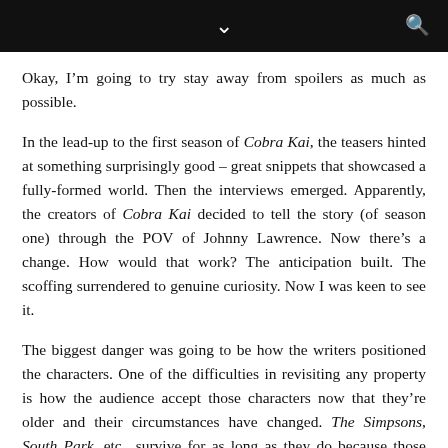Okay, I'm going to try stay away from spoilers as much as possible.
In the lead-up to the first season of Cobra Kai, the teasers hinted at something surprisingly good – great snippets that showcased a fully-formed world. Then the interviews emerged. Apparently, the creators of Cobra Kai decided to tell the story (of season one) through the POV of Johnny Lawrence. Now there's a change. How would that work? The anticipation built. The scoffing surrendered to genuine curiosity. Now I was keen to see it.
The biggest danger was going to be how the writers positioned the characters. One of the difficulties in revisiting any property is how the audience accept those characters now that they're older and their circumstances have changed. The Simpsons, South Park, etc., survive for as long as they do because those characters never age